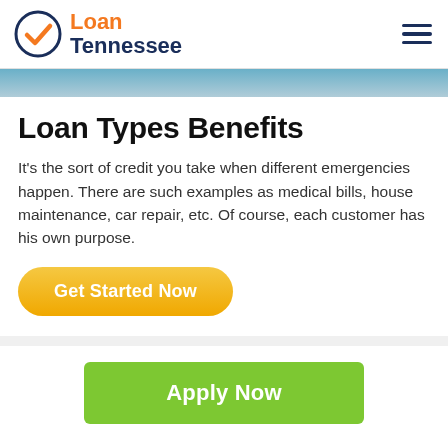Loan Tennessee
Loan Types Benefits
It's the sort of credit you take when different emergencies happen. There are such examples as medical bills, house maintenance, car repair, etc. Of course, each customer has his own purpose.
Get Started Now
Apply Now
Applying does NOT affect your credit score! No credit check to apply.